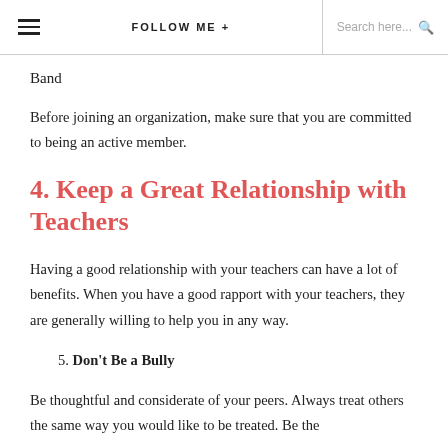≡   FOLLOW ME +   Search here... 🔍
Band
Before joining an organization, make sure that you are committed to being an active member.
4. Keep a Great Relationship with Teachers
Having a good relationship with your teachers can have a lot of benefits. When you have a good rapport with your teachers, they are generally willing to help you in any way.
5. Don't Be a Bully
Be thoughtful and considerate of your peers. Always treat others the same way you would like to be treated. Be the